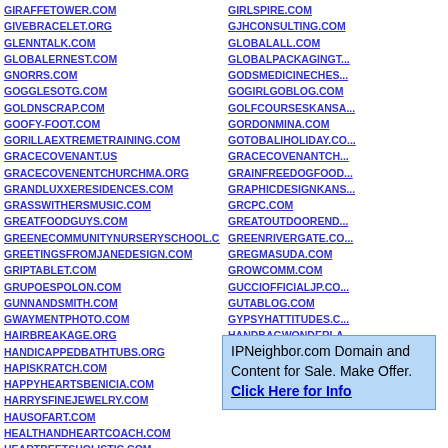GIRAFFETOWER.COM
GIVEBRACELET.ORG
GLENNTALK.COM
GLOBALERNEST.COM
GNORRS.COM
GOGGLESOTG.COM
GOLDNSCRAP.COM
GOOFY-FOOT.COM
GORILLAEXTREMETRAINING.COM
GRACECOVENANT.US
GRACECOVENENTCHURCHMA.ORG
GRANDLUXXERESIDENCES.COM
GRASSWITHERSMUSIC.COM
GREATFOODGUYS.COM
GREENECOMMUNITYNURSERYSCHOOL.COM
GREETINGSFROMJANEDESIGN.COM
GRIPTABLET.COM
GRUPOESPOLON.COM
GUNNANDSMITH.COM
GWAYMENTPHOTO.COM
HAIRBREAKAGE.ORG
HANDICAPPEDBATHTUBS.ORG
HAPISKRATCH.COM
HAPPYHEARTSBENICIA.COM
HARRYSFINEJEWELRY.COM
HAUSOFART.COM
HEALTHANDHEARTCOACH.COM
HEARTBEETSHOLISTIC.COM
GIRLSPIRE.COM
GJHCONSULTING.COM
GLOBALALL.COM
GLOBALPACKAGINGT...
GODSMEDICINECHES...
GOGIRLGOBLOG.COM
GOLFCOURSESKANSA...
GORDONMINA.COM
GOTOBALIHOLIDAY.CO...
GRACECOVENANTCH...
GRAINFREEDOGFOOD...
GRAPHICDESIGNKANS...
GRCPC.COM
GREATOUTDOOREND...
GREENRIVERGATE.CO...
GREGMASUDA.COM
GROWCOMM.COM
GUCCIOFFICIALJP.CO...
GUTABLOG.COM
GYPSYHATTITUDES.C...
HANDBAGWONDERLA...
HANDMADELUX.COM
HAPISKRATCHLIVE.CO...
IPNeighbor.com Domain and Content for Sale. Make Offer. Click Here for Info